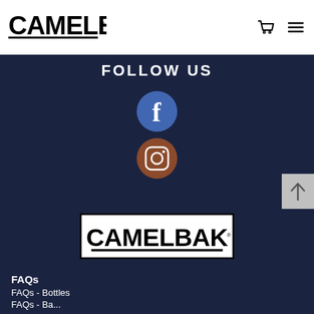[Figure (logo): CamelBak logo in black text on white header background]
[Figure (other): Shopping cart icon and hamburger menu icon in header]
FOLLOW US
[Figure (illustration): Facebook circular icon in blue with white F]
[Figure (illustration): Instagram circular icon in brown/gradient with camera outline]
[Figure (other): Back to top arrow button in grey on right edge]
[Figure (logo): CamelBak wordmark logo in white/black on dark navy background]
FAQs
FAQs - Bottles
FAQs - Ba...